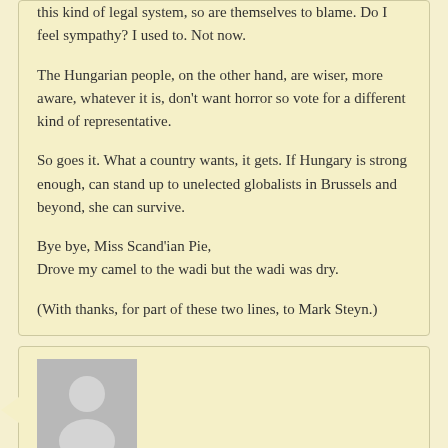this kind of legal system, so are themselves to blame. Do I feel sympathy? I used to. Not now.

The Hungarian people, on the other hand, are wiser, more aware, whatever it is, don't want horror so vote for a different kind of representative.

So goes it. What a country wants, it gets. If Hungary is strong enough, can stand up to unelected globalists in Brussels and beyond, she can survive.

Bye bye, Miss Scand'ian Pie,
Drove my camel to the wadi but the wadi was dry.

(With thanks, for part of these two lines, to Mark Steyn.)
RonaldB on July 21, 2018 at 9:30 am said:
A judiciary that dysfunctional calls into question